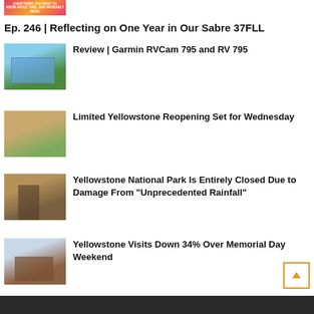[Figure (illustration): Small colorful book/magazine cover image with pink, orange and yellow text on a bright background]
Ep. 246 | Reflecting on One Year in Our Sabre 37FLL
[Figure (photo): Photo of an RV or structure with blue sky and green grass]
Review | Garmin RVCam 795 and RV 795
[Figure (photo): Photo of eroded hillside or muddy landscape with green vegetation]
Limited Yellowstone Reopening Set for Wednesday
[Figure (photo): Photo of flood damage with rushing muddy water and damaged wooden structure]
Yellowstone National Park Is Entirely Closed Due to Damage From “Unprecedented Rainfall”
[Figure (photo): Photo of Yellowstone area building with vehicles and cloudy sky]
Yellowstone Visits Down 34% Over Memorial Day Weekend